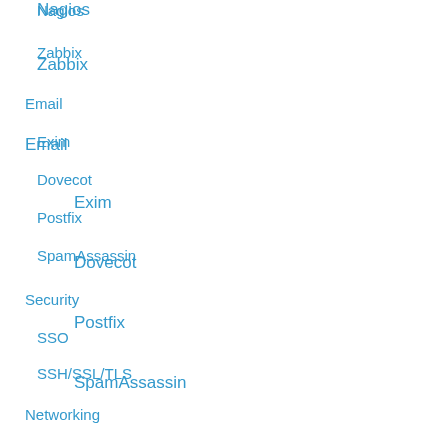Nagios
Zabbix
Email
Exim
Dovecot
Postfix
SpamAssassin
Security
SSO
SSH/SSL/TLS
Networking
DNS/BIND
OpenVPN
Content Management Systems
Django